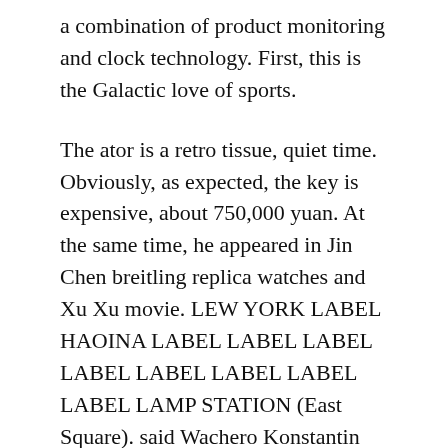a combination of product monitoring and clock technology. First, this is the Galactic love of sports.
The ator is a retro tissue, quiet time. Obviously, as expected, the key is expensive, about 750,000 yuan. At the same time, he appeared in Jin Chen breitling replica watches and Xu Xu movie. LEW YORK LABEL HAOINA LABEL LABEL LABEL LABEL LABEL LABEL LABEL LABEL LAMP STATION (East Square). said Wachero Konstantin Selio. In the Montbrillant Légende cultivation of “emphasized”, “Xiang” is peace, harmony and prosperity symbolizing the joy of chlorine. We strive to work for your life and our work and our work.